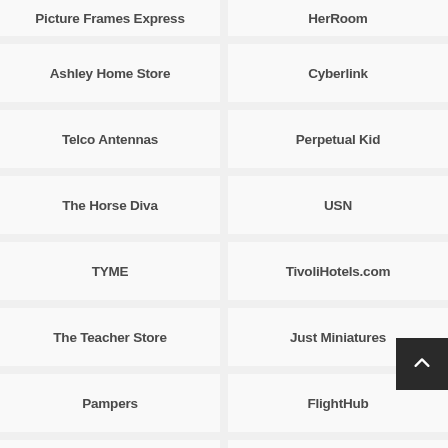Picture Frames Express
HerRoom
Ashley Home Store
Cyberlink
Telco Antennas
Perpetual Kid
The Horse Diva
USN
TYME
TivoliHotels.com
The Teacher Store
Just Miniatures
Pampers
FlightHub